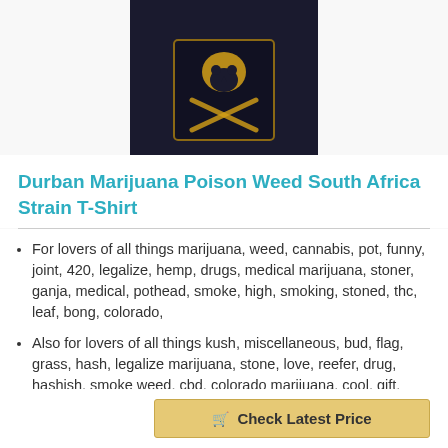[Figure (photo): Product image of a black t-shirt with a skull and crossbones graphic design against dark background]
Durban Marijuana Poison Weed South Africa Strain T-Shirt
For lovers of all things marijuana, weed, cannabis, pot, funny, joint, 420, legalize, hemp, drugs, medical marijuana, stoner, ganja, medical, pothead, smoke, high, smoking, stoned, thc, leaf, bong, colorado,
Also for lovers of all things kush, miscellaneous, bud, flag, grass, hash, legalize marijuana, stone, love, reefer, drug, hashish, smoke weed, cbd, colorado marijuana, cool, gift, hand, mary jane, weed funny, birthday, blunt, cannabis leaf, cannabisleaf, c
Lightweight, Classic fit, Double-needle sleeve and bottom hem